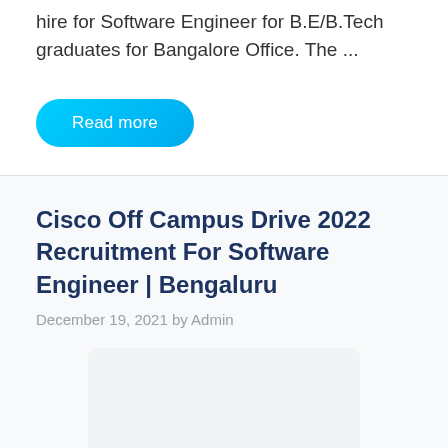GeeksAnts Off Campus Drive 2022 scheduled to hire for Software Engineer for B.E/B.Tech graduates for Bangalore Office. The ...
Read more
Cisco Off Campus Drive 2022 Recruitment For Software Engineer | Bengaluru
December 19, 2021 by Admin
[Figure (photo): Image placeholder for Cisco Off Campus Drive article]